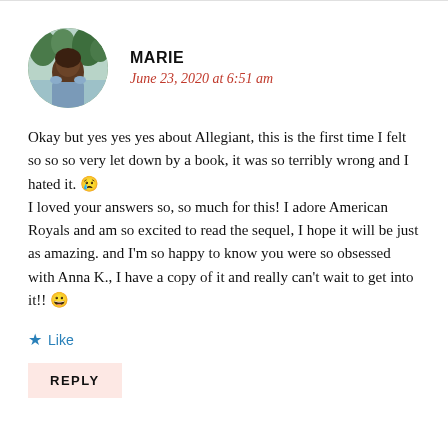[Figure (photo): Circular avatar photo of a person outdoors near water, with greenery in the background]
MARIE
June 23, 2020 at 6:51 am
Okay but yes yes yes about Allegiant, this is the first time I felt so so so very let down by a book, it was so terribly wrong and I hated it. 😢
I loved your answers so, so much for this! I adore American Royals and am so excited to read the sequel, I hope it will be just as amazing. and I'm so happy to know you were so obsessed with Anna K., I have a copy of it and really can't wait to get into it!! 😀
★ Like
REPLY